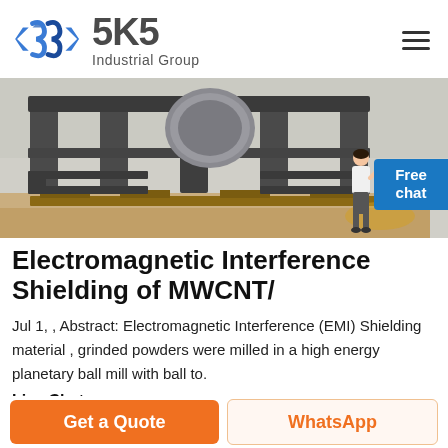[Figure (logo): SKS Industrial Group logo with stylized blue S symbol and grey text]
[Figure (photo): Industrial machinery photo showing metal structural frames and equipment on wooden pallets in a factory setting]
Electromagnetic Interference Shielding of MWCNT/
Jul 1, , Abstract: Electromagnetic Interference (EMI) Shielding material , grinded powders were milled in a high energy planetary ball mill with ball to.
Live Chat
Get a Quote
WhatsApp